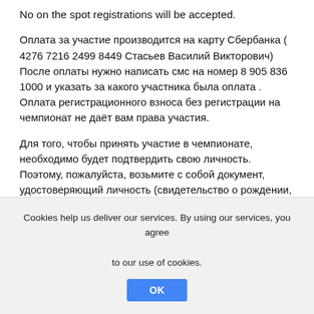No on the spot registrations will be accepted.
Оплата за участие производится на карту Сбербанка ( 4276 7216 2499 8449 Стасьев Василий Викторович)
После оплаты нужно написать смс на номер 8 905 836 1000 и указать за какого участника была оплата .
Оплата регистрационного взноса без регистрации на чемпионат не даёт вам права участия.
Для того, чтобы принять участие в чемпионате, необходимо будет подтвердить свою личность. Поэтому, пожалуйста, возьмите с собой документ, удостоверяющий личность (свидетельство о рождении, паспорт, заграничный паспорт или водительское удостоверение). После предъявления удостоверения личности Вы получите бейдж участника. Без бейджа Вы не будете допущены к участию в чемпионате.
В случае, если на чемпионат зарегистрируются более 40
Cookies help us deliver our services. By using our services, you agree to our use of cookies.
OK